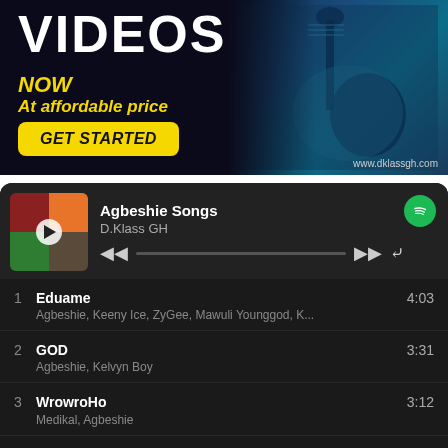[Figure (infographic): Advertisement banner with dark background, guitarist silhouette in blue tones. Text: VIDEOS NOW At affordable price GET STARTED button, url www.dklassgh.com]
Agbeshie Songs
D.Klass GH
1  Eduame  4:03
Agbeshie, Keeny Ice, ZyGee, Mawuli Younggod, K...
2  GOD  3:31
Agbeshie, Kelvyn Boy
3  WrowroHo  3:12
Medikal, Agbeshie
4  Pour Pour  2:06
Agbeshie, D-Black
5  Original  3:14